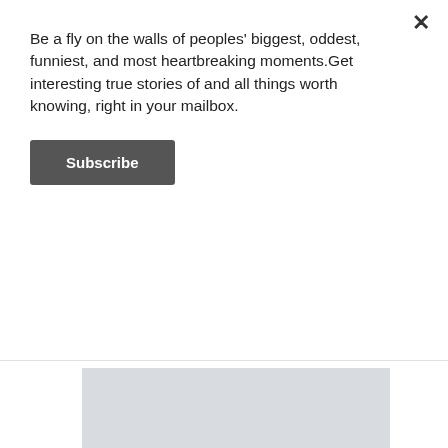Be a fly on the walls of peoples' biggest, oddest, funniest, and most heartbreaking moments.Get interesting true stories of and all things worth knowing, right in your mailbox.
Subscribe
[Figure (other): Advertisement banner with gray background image area, blue bar showing SHOP NOW button and FREE PICKUP text, and ad icons at bottom corners.]
"A phone call and just let me hear your voice, tell me everything about your life and let me continue to be so very proud of your